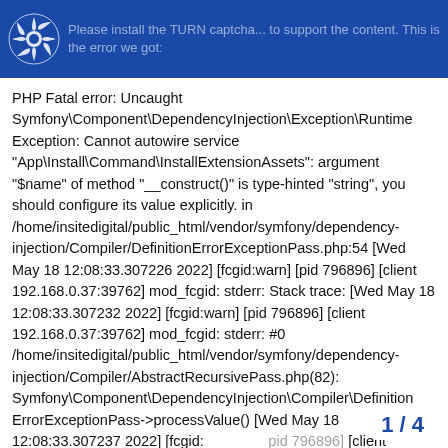[logo] Please install the TURN captcha... to support the context. This is the error we got:
PHP Fatal error: Uncaught Symfony\Component\DependencyInjection\Exception\RuntimeException: Cannot autowire service "App\Install\Command\InstallExtensionAssets": argument "$name" of method "__construct()" is type-hinted "string", you should configure its value explicitly. in /home/insitedigital/public_html/vendor/symfony/dependency-injection/Compiler/DefinitionErrorExceptionPass.php:54 [Wed May 18 12:08:33.307226 2022] [fcgid:warn] [pid 796896] [client 192.168.0.37:39762] mod_fcgid: stderr: Stack trace: [Wed May 18 12:08:33.307232 2022] [fcgid:warn] [pid 796896] [client 192.168.0.37:39762] mod_fcgid: stderr: #0 /home/insitedigital/public_html/vendor/symfony/dependency-injection/Compiler/AbstractRecursivePass.php(82): Symfony\Component\DependencyInjection\Compiler\DefinitionErrorExceptionPass->processValue() [Wed May 18 12:08:33.307237 2022] [fcgid: [pid 796896] [client 192.168.0.37:39762] mod_fcgid: std /home/insitedigital/public_html/vendor/s
1 / 4